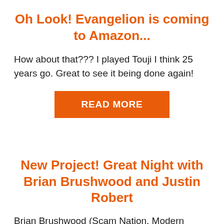Oh Look! Evangelion is coming to Amazon...
How about that??? I played Touji I think 25 years go. Great to see it being done again!
READ MORE
New Project! Great Night with Brian Brushwood and Justin Robert
Brian Brushwood (Scam Nation, Modern Rogue, Tonight Show, Fool Us w Penn and Teller) and Justin Robert Young (Politics Politics Politics!